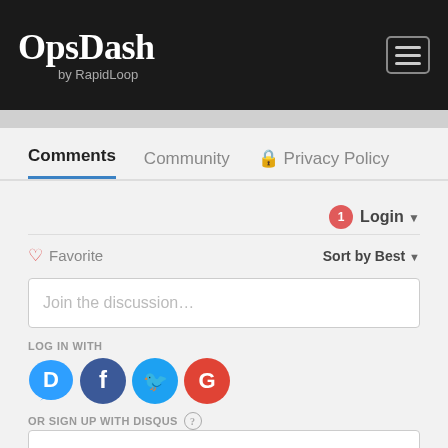[Figure (logo): OpsDash by RapidLoop logo in white text on dark background with hamburger menu icon]
OpsDash by RapidLoop
Comments | Community | Privacy Policy (tabs)
Login ▼ (with notification badge showing 1)
♡ Favorite | Sort by Best ▼
Join the discussion...
LOG IN WITH
[Figure (infographic): Social login icons: Disqus (blue), Facebook (dark blue), Twitter (light blue), Google (red)]
OR SIGN UP WITH DISQUS ?
Name